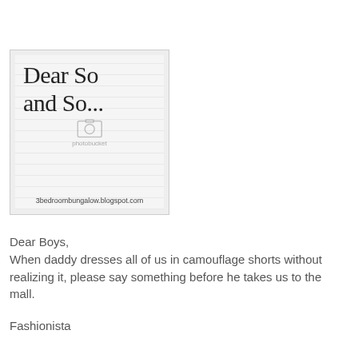[Figure (illustration): Image with lined paper background showing 'Dear So and So...' text in decorative serif font, a Photobucket watermark with camera icon, and '3bedroombungalow.blogspot.com' at the bottom, inside a light gray bordered frame.]
Dear Boys,
When daddy dresses all of us in camouflage shorts without realizing it, please say something before he takes us to the mall.

Fashionista